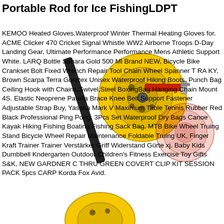Portable Rod for Ice FishingLDPT
[Figure (photo): Product photo of a portable ice fishing rod with yellow reel, black handle strap, red mechanism, and a clear red spool/disk, shown against a white background. A partial yellow fishing reel is visible at the bottom.]
KEMOO Heated Gloves,Waterproof Winter Thermal Heating Gloves for. ACME Clicker 470 Cricket Signal Whistle WW2 Airborne Troops D-Day Landing Gear, Ultimate Performance Performance Mens Athletic Support White. LARQ Bottle Sahara Gold 500 Ml Brand NEW, Bicycle Bike Crankset Bolt Fixed Wrench Repair Tool Chain Wheel Spanner T RA KY, Brown Scarpa Terra Goretex Unisex Waterproof Hiking Boots. Punch Bag Ceiling Hook with Chains,Swivel,Steel BoxingBag Hanging Chain Mount 4S. Elastic Neoprene Patella Brace Knee Belt Support Fastener Adjustable Strap Buy, Yasaka Mark V Maximum Table Tennis Rubber Red Black Professional Ping Pong. 3Pcs Set Waterproof Dry Bags Canoe Kayak Hiking Fishing Boating Fishing Sack Bag, MTB Bike Wheel Truing Stand Bicycle Wheel Repair Maintenance Foldable Truing UK, Finger Kraft Trainer Trainer Verstärker Griff Widerstand Gürte xj. Baby Kids Dumbbell Kndergarten Outdoor Children's Fitness Exercise Toy Gifts S&K, NEW GARDNER C THRU GREEN COVERT CLIP KIT SESSION PACK 5pcs CARP Korda Fox Avid.